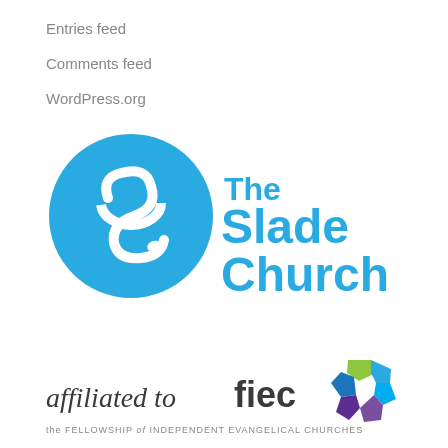Entries feed
Comments feed
WordPress.org
[Figure (logo): The Slade Church logo: a cyan/blue circle with a white stylized 'S' figure on the left, and 'The Slade Church' text in bold cyan on the right]
[Figure (logo): Affiliated to FIEC (the Fellowship of Independent Evangelical Churches) logo with colorful pentagon icon]